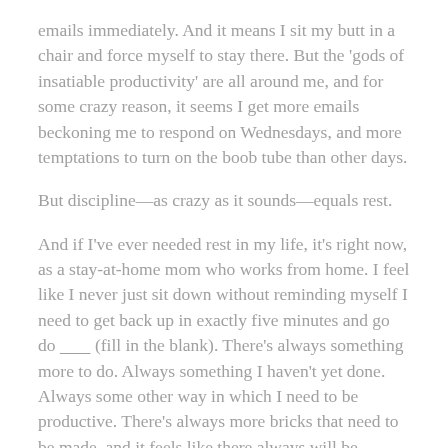emails immediately. And it means I sit my butt in a chair and force myself to stay there. But the 'gods of insatiable productivity' are all around me, and for some crazy reason, it seems I get more emails beckoning me to respond on Wednesdays, and more temptations to turn on the boob tube than other days.
But discipline—as crazy as it sounds—equals rest.
And if I've ever needed rest in my life, it's right now, as a stay-at-home mom who works from home. I feel like I never just sit down without reminding myself I need to get back up in exactly five minutes and go do _______ (fill in the blank). There's always something more to do. Always something I haven't yet done. Always some other way in which I need to be productive. There's always more bricks that need to be made, and it feels like there always will be (Bruggemann opens his book with this concept of more bricks for Pharoah). So if I don't take a